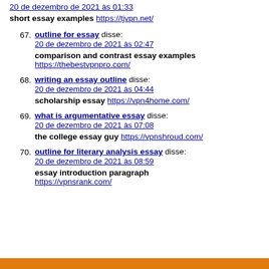20 de dezembro de 2021 às 01:33
short essay examples https://tjvpn.net/
67. outline for essay disse: 20 de dezembro de 2021 às 02:47
comparison and contrast essay examples https://thebestvpnpro.com/
68. writing an essay outline disse: 20 de dezembro de 2021 às 04:44
scholarship essay https://vpn4home.com/
69. what is argumentative essay disse: 20 de dezembro de 2021 às 07:08
the college essay guy https://vpnshroud.com/
70. outline for literary analysis essay disse: 20 de dezembro de 2021 às 08:59
essay introduction paragraph https://vpnsrank.com/